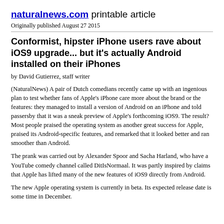naturalnews.com printable article
Originally published August 27 2015
Conformist, hipster iPhone users rave about iOS9 upgrade... but it's actually Android installed on their iPhones
by David Gutierrez, staff writer
(NaturalNews) A pair of Dutch comedians recently came up with an ingenious plan to test whether fans of Apple's iPhone care more about the brand or the features: they managed to install a version of Android on an iPhone and told passersby that it was a sneak preview of Apple's forthcoming iOS9. The result? Most people praised the operating system as another great success for Apple, praised its Android-specific features, and remarked that it looked better and ran smoother than Android.
The prank was carried out by Alexander Spoor and Sacha Harland, who have a YouTube comedy channel called DitIsNormaal. It was partly inspired by claims that Apple has lifted many of the new features of iOS9 directly from Android.
The new Apple operating system is currently in beta. Its expected release date is some time in December.